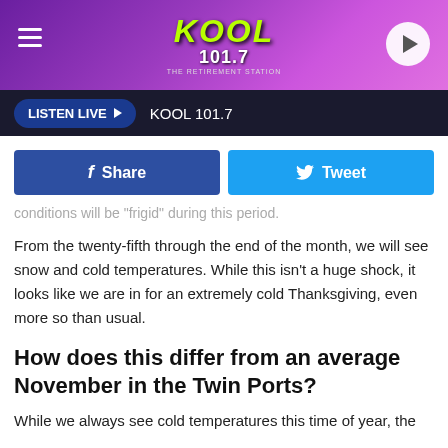[Figure (logo): KOOL 101.7 radio station header banner with purple gradient background, hamburger menu icon on left, KOOL 101.7 logo in center, play button on right]
LISTEN LIVE ▶  KOOL 101.7
[Figure (infographic): Facebook Share button and Twitter Tweet button row]
conditions will be "frigid" during this period.
From the twenty-fifth through the end of the month, we will see snow and cold temperatures. While this isn't a huge shock, it looks like we are in for an extremely cold Thanksgiving, even more so than usual.
How does this differ from an average November in the Twin Ports?
While we always see cold temperatures this time of year, the